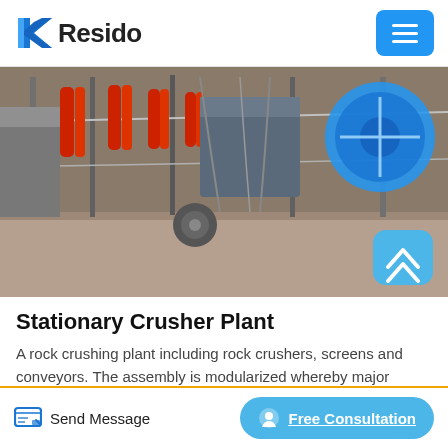Resido
[Figure (photo): Industrial stationary crusher plant machinery showing rock crushers, red hydraulic cylinders, conveyor components, structural steelwork, and a blue circular fan/motor unit, with concrete walls visible in the foreground.]
Stationary Crusher Plant
A rock crushing plant including rock crushers, screens and conveyors. The assembly is modularized whereby major components and associated support structures are organized into
Send Message   Free Consultation